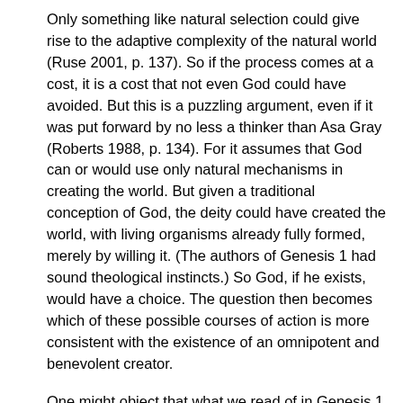Only something like natural selection could give rise to the adaptive complexity of the natural world (Ruse 2001, p. 137). So if the process comes at a cost, it is a cost that not even God could have avoided. But this is a puzzling argument, even if it was put forward by no less a thinker than Asa Gray (Roberts 1988, p. 134). For it assumes that God can or would use only natural mechanisms in creating the world. But given a traditional conception of God, the deity could have created the world, with living organisms already fully formed, merely by willing it. (The authors of Genesis 1 had sound theological instincts.) So God, if he exists, would have a choice. The question then becomes which of these possible courses of action is more consistent with the existence of an omnipotent and benevolent creator.
One might object that what we read of in Genesis 1 involves a series of miraculous divine acts. And so it does. But why should this make it less likely, as a mode of divine action? There can be no creation ex nihilo without a miraculous divine act, at least at the start of the process. And a Christian who believes that Jesus